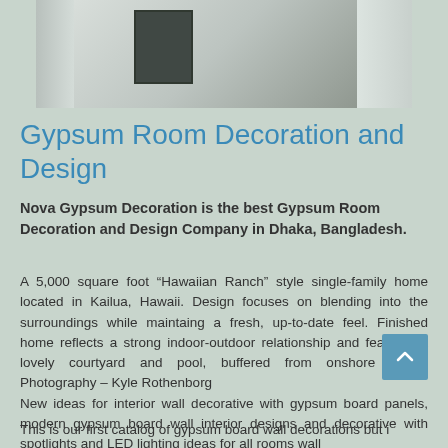[Figure (photo): Interior room photo showing curtains and a framed picture on the wall, light and airy room setting]
Gypsum Room Decoration and Design
Nova Gypsum Decoration is the best Gypsum Room Decoration and Design Company in Dhaka, Bangladesh.
A 5,000 square foot “Hawaiian Ranch” style single-family home located in Kailua, Hawaii. Design focuses on blending into the surroundings while maintaing a fresh, up-to-date feel. Finished home reflects a strong indoor-outdoor relationship and features a lovely courtyard and pool, buffered from onshore winds. Photography – Kyle Rothenborg
New ideas for interior wall decorative with gypsum board panels, modern gypsum board wall interior designs and decorative with spotlights and LED lighting ideas for all rooms wall
This is our first catalog of gypsum board wall decorations but i